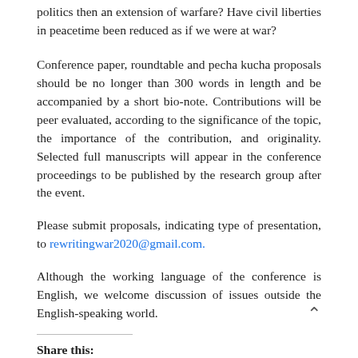politics then an extension of warfare? Have civil liberties in peacetime been reduced as if we were at war?
Conference paper, roundtable and pecha kucha proposals should be no longer than 300 words in length and be accompanied by a short bio-note. Contributions will be peer evaluated, according to the significance of the topic, the importance of the contribution, and originality. Selected full manuscripts will appear in the conference proceedings to be published by the research group after the event.
Please submit proposals, indicating type of presentation, to rewritingwar2020@gmail.com.
Although the working language of the conference is English, we welcome discussion of issues outside the English-speaking world.
Share this: